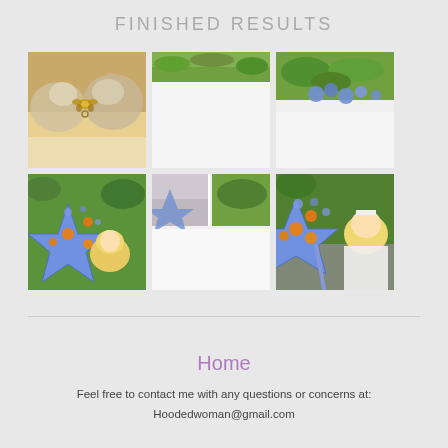FINISHED RESULTS
[Figure (photo): Close-up of a white satin bra with a decorative golden butterfly/brooch charm attached to the center]
[Figure (photo): Outdoor photo showing blue star-shaped wand prop with green foliage background, partially visible at top]
[Figure (photo): Outdoor photo showing blue floral crown/headpiece with green tree foliage background]
[Figure (photo): Cosplay photo of person with blonde hair holding blue star-shaped wand with orange gems, outdoors with foliage]
[Figure (photo): Two smaller combined outdoor photos showing blue star wand prop from different angles]
[Figure (photo): Cosplay photo of person in white dress holding large blue star-shaped wand with orange jewels, outdoors rocky background]
Home
Feel free to contact me with any questions or concerns at:
Hoodedwoman@gmail.com